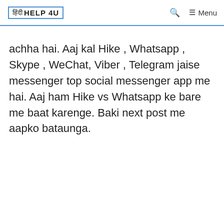[ हिंदी HELP 4U ]
achha hai. Aaj kal Hike , Whatsapp , Skype , WeChat, Viber , Telegram jaise messenger top social messenger app me hai. Aaj ham Hike vs Whatsapp ke bare me baat karenge. Baki next post me aapko bataunga.